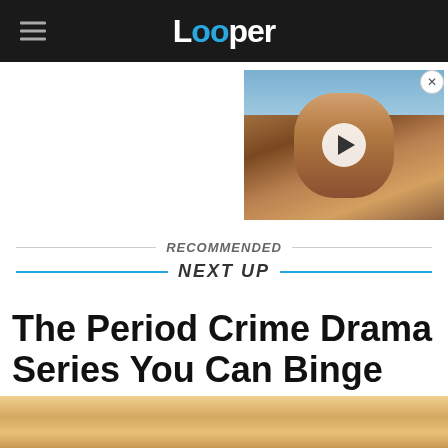Looper
[Figure (screenshot): Video thumbnail showing a man with long curly hair and a play button overlay]
RECOMMENDED
NEXT UP
The Period Crime Drama Series You Can Binge On Amazon
[Figure (photo): Bottom portion of a person's face/head, partially cropped]